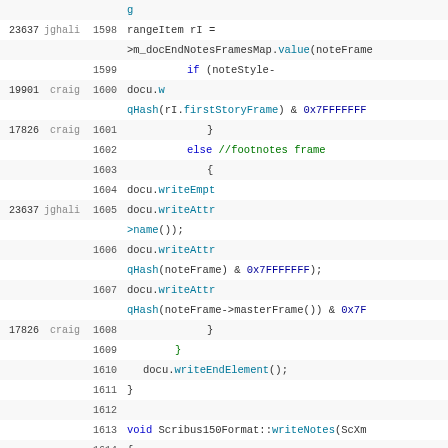[Figure (screenshot): Source code viewer showing C++ code for Scribus150Format with line numbers 1598-1614, blame annotations (revision numbers and author names jghali/craig), and syntax highlighted code in monospace font. Lines show writeNotes function implementation with XML document writing operations.]